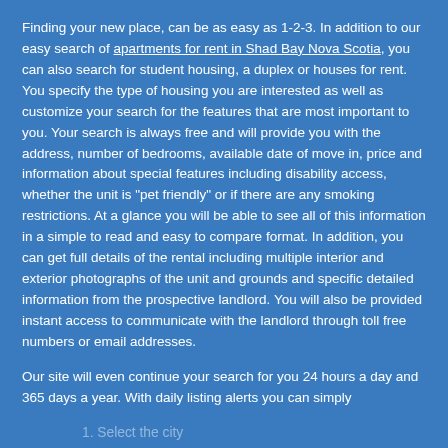Finding your new place, can be as easy as 1-2-3. In addition to our easy search of apartments for rent in Shad Bay Nova Scotia, you can also search for student housing, a duplex or houses for rent. You specify the type of housing you are interested as well as customize your search for the features that are most important to you. Your search is always free and will provide you with the address, number of bedrooms, available date of move in, price and information about special features including disability access, whether the unit is "pet friendly" or if there are any smoking restrictions. At a glance you will be able to see all of this information in a simple to read and easy to compare format. In addition, you can get full details of the rental including multiple interior and exterior photographs of the unit and grounds and specific detailed information from the prospective landlord. You will also be provided instant access to communicate with the landlord through toll free numbers or email addresses.
Our site will even continue your search for you 24 hours a day and 365 days a year. With daily listing alerts you can simply
1. Select the city
2. Choose the area radius